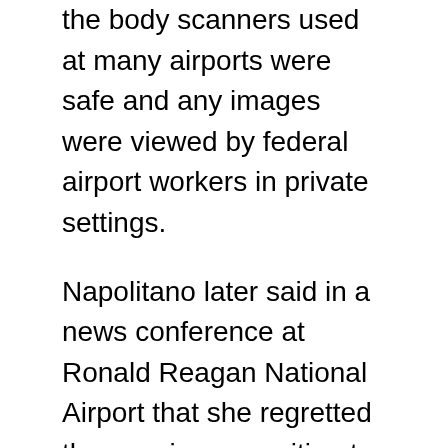the body scanners used at many airports were safe and any images were viewed by federal airport workers in private settings.
Napolitano later said in a news conference at Ronald Reagan National Airport that she regretted the growing opposition to moves by the federal government to make flying safer. But she said the changes were necessary to deal with emerging terrorist threats such as a Nigerian man's alleged attempt to blow up a jetliner bound from Amsterdam to Detroit last Christmas Day using hard-to-detect explosives. Authorities allege that the explosives were hidden in the suspect's underwear.
There are some 300 full-body scanners now